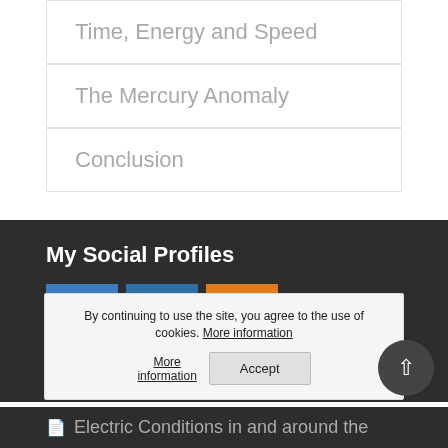Time, Energy and Speed
The Mercury Anomaly
Conclusion
My Social Profiles
[Figure (logo): Social media icons: Facebook (blue), LinkedIn (blue), RSS (orange)]
Recent Posts
By continuing to use the site, you agree to the use of cookies. More information
Accept
Electric Conditions in and around the